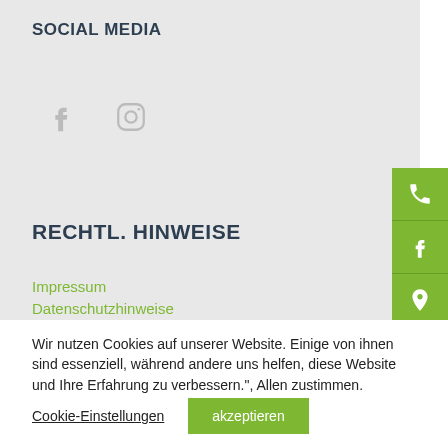SOCIAL MEDIA
[Figure (illustration): Facebook and Instagram social media icons (gray)]
RECHTL. HINWEISE
Impressum
Datenschutzhinweise
[Figure (illustration): Right sidebar with three green icon buttons: phone, Facebook, location pin]
Wir nutzen Cookies auf unserer Website. Einige von ihnen sind essenziell, während andere uns helfen, diese Website und Ihre Erfahrung zu verbessern.", Allen zustimmen.
Cookie-Einstellungen
akzeptieren